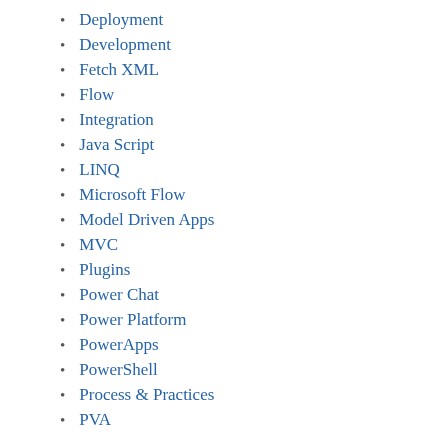Deployment
Development
Fetch XML
Flow
Integration
Java Script
LINQ
Microsoft Flow
Model Driven Apps
MVC
Plugins
Power Chat
Power Platform
PowerApps
PowerShell
Process & Practices
PVA